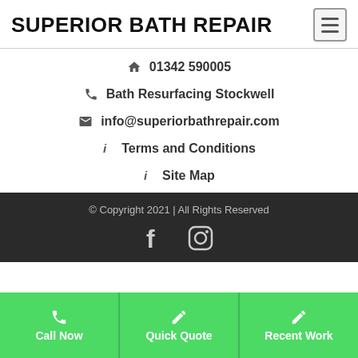SUPERIOR BATH REPAIR
01342 590005
Bath Resurfacing Stockwell
info@superiorbathrepair.com
Terms and Conditions
Site Map
© Copyright 2021 | All Rights Reserved
[Figure (logo): Facebook and Instagram social media icons]
Call Now  Quick Quote  Recent Work